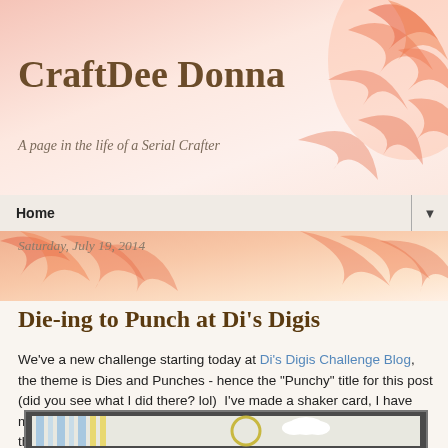CraftDee Donna
A page in the life of a Serial Crafter
Home ▼
Saturday, July 19, 2014
Die-ing to Punch at Di's Digis
We've a new challenge starting today at Di's Digis Challenge Blog, the theme is Dies and Punches - hence the "Punchy" title for this post (did you see what I did there? lol)  I've made a shaker card, I have made one before, but I'm happier with this one :-)  The only thing is they're a bit hard to photograph "in action" as it were.  Well here it is
[Figure (photo): Partial view of a handmade shaker card with blue stripes, yellow accents, and white cloud embellishment on dark grey background]